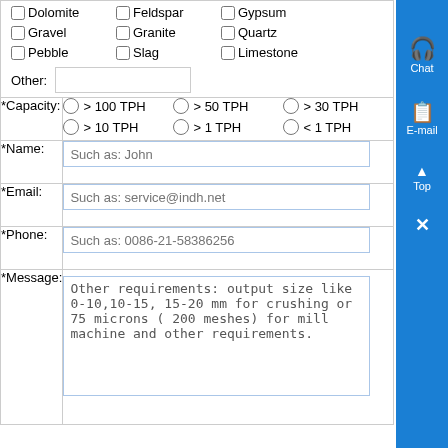| (checkboxes: Dolomite, Feldspar, Gypsum, Gravel, Granite, Quartz, Pebble, Slag, Limestone, Other: [text input]) |  |
| *Capacity: | > 100 TPH  > 50 TPH  > 30 TPH  > 10 TPH  > 1 TPH  < 1 TPH |
| *Name: | Such as: John |
| *Email: | Such as: service@indh.net |
| *Phone: | Such as: 0086-21-58386256 |
| *Message: | Other requirements: output size like 0-10,10-15, 15-20 mm for crushing or 75 microns ( 200 meshes) for mill machine and other requirements. |
[Figure (infographic): Blue sidebar with Chat (headphones icon), E-mail (document icon), Top (arrow up icon), and close (X) buttons]